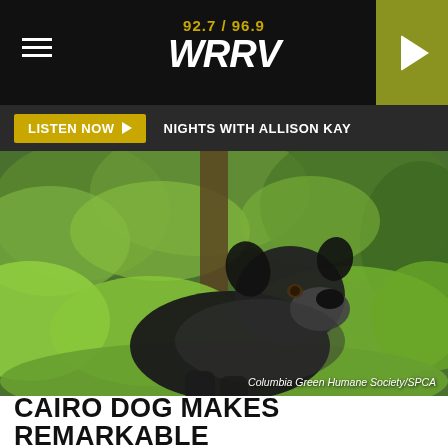92.7 / 96.9 WRRV
LISTEN NOW  NIGHTS WITH ALLISON KAY
[Figure (photo): A dark grey/black mixed-breed dog sitting outdoors looking upward, surrounded by lush green foliage and trees in the background. Photo credit: Columbia Green Humane Society/SPCA]
Columbia Green Humane Society/SPCA
CAIRO DOG MAKES REMARKABLE